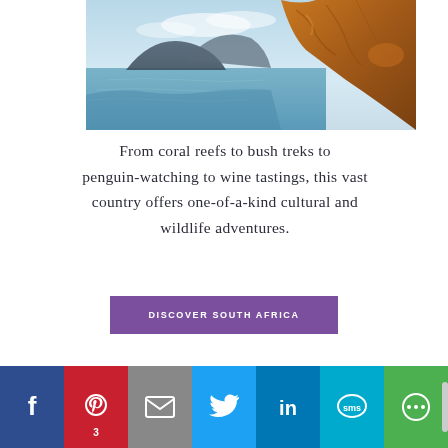[Figure (photo): Coastal rocky cliffs with ocean and mountains in background, South Africa landscape, warm golden light]
From coral reefs to bush treks to penguin-watching to wine tastings, this vast country offers one-of-a-kind cultural and wildlife adventures.
DISCOVER SOUTH AFRICA
[Figure (infographic): Social media sharing bar with Facebook, Pinterest (3), Email, Twitter, LinkedIn, SMS, and More buttons]